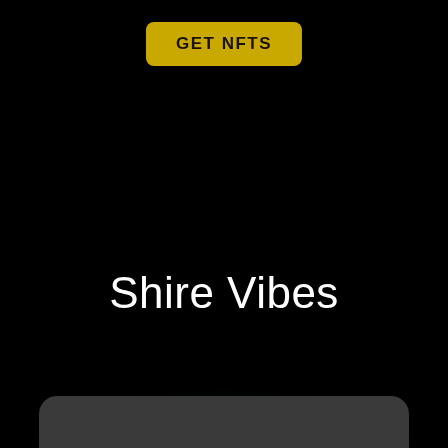[Figure (screenshot): Yellow button labeled GET NFTS on a black background, with 'Shire Vibes' text and a gray rounded bottom bar element]
Shire Vibes